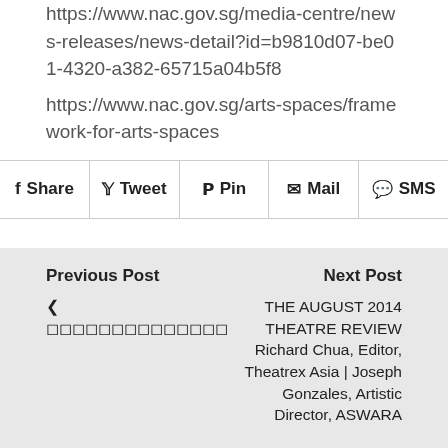https://www.nac.gov.sg/media-centre/news-releases/news-detail?id=b9810d07-be01-4320-a382-65715a04b5f8
https://www.nac.gov.sg/arts-spaces/framework-for-arts-spaces
Share
Tweet
Pin
Mail
SMS
Previous Post
◀ ◻◻◻◻◻◻◻◻◻◻◻◻◻◻
Next Post
THE AUGUST 2014 THEATRE REVIEW Richard Chua, Editor, Theatrex Asia | Joseph Gonzales, Artistic Director, ASWARA